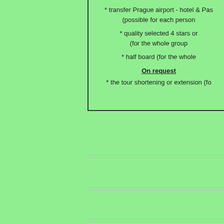* transfer Prague airport - hotel & Pas (possible for each person
* quality selected 4 stars or (for the whole group
* half board (for the whole
On request
* the tour shortening or extension (fo